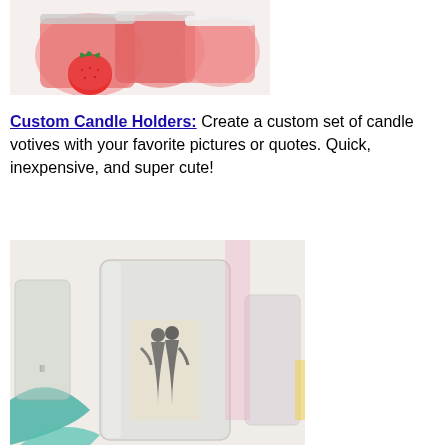[Figure (photo): Photo of pink/red gel candles in glass jars with a strawberry in front, on white background]
Custom Candle Holders: Create a custom set of candle votives with your favorite pictures or quotes. Quick, inexpensive, and super cute!
[Figure (photo): Photo of glass candle votives on a table; the central votive has a vintage black-and-white image of a couple in swimsuits decoupaged onto it]